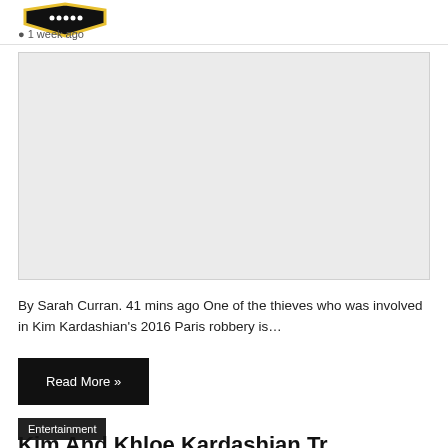[Figure (logo): News/entertainment website logo — black shield shape with yellow/gold border and dots, on white background]
1 week ago
[Figure (photo): Large light grey placeholder image representing an article thumbnail]
By Sarah Curran. 41 mins ago One of the thieves who was involved in Kim Kardashian's 2016 Paris robbery is…
Read More »
Entertainment
Kim And Khloe Kardashian Tr…